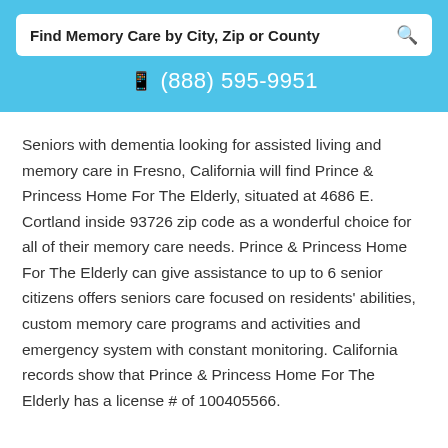Find Memory Care by City, Zip or County
(888) 595-9951
Seniors with dementia looking for assisted living and memory care in Fresno, California will find Prince & Princess Home For The Elderly, situated at 4686 E. Cortland inside 93726 zip code as a wonderful choice for all of their memory care needs. Prince & Princess Home For The Elderly can give assistance to up to 6 senior citizens offers seniors care focused on residents' abilities, custom memory care programs and activities and emergency system with constant monitoring. California records show that Prince & Princess Home For The Elderly has a license # of 100405566.